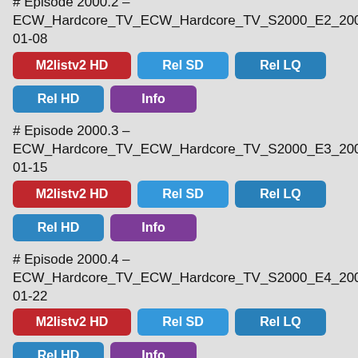# Episode 2000.2 – ECW_Hardcore_TV_ECW_Hardcore_TV_S2000_E2_2000-01-08
M2listv2 HD | Rel SD | Rel LQ | Rel HD | Info
# Episode 2000.3 – ECW_Hardcore_TV_ECW_Hardcore_TV_S2000_E3_2000-01-15
M2listv2 HD | Rel SD | Rel LQ | Rel HD | Info
# Episode 2000.4 – ECW_Hardcore_TV_ECW_Hardcore_TV_S2000_E4_2000-01-22
M2listv2 HD | Rel SD | Rel LQ | Rel HD | Info